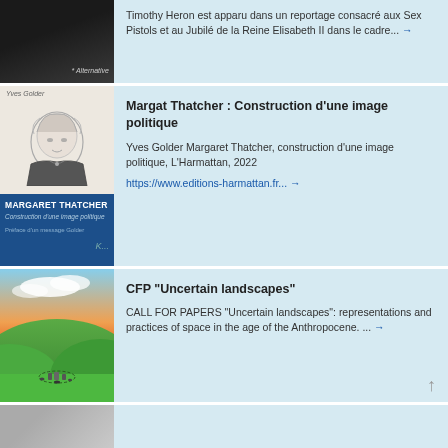Timothy Heron est apparu dans un reportage consacré aux Sex Pistols et au Jubilé de la Reine Elisabeth II dans le cadre... →
[Figure (photo): Photo of a person in black clothing, with 'Alternative' label partially visible]
[Figure (photo): Book cover of Margaret Thatcher: Construction d'une image politique by Yves Golder, L'Harmattan 2022. Top half shows pencil portrait sketch of Margaret Thatcher, bottom half has dark blue background with title text.]
Margat Thatcher : Construction d'une image politique
Yves Golder Margaret Thatcher, construction d'une image politique, L'Harmattan, 2022
https://www.editions-harmattan.fr... →
[Figure (photo): Scenic landscape photo showing green rolling hills with ancient stone circles under a dramatic sky with clouds and sunset colors]
CFP "Uncertain landscapes"
CALL FOR PAPERS "Uncertain landscapes": representations and practices of space in the age of the Anthropocene. ... →
[Figure (photo): Partial photo visible at bottom, appears to be a person or landscape in grey tones]